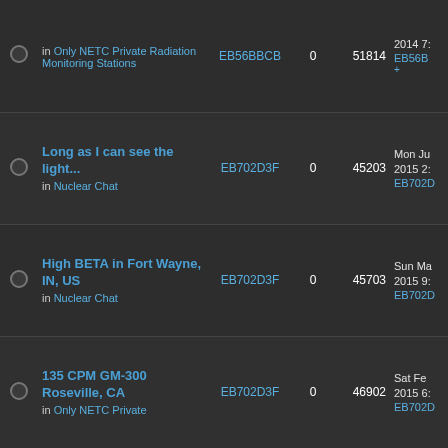|  | Topic | User | Replies | Views | Last Post |
| --- | --- | --- | --- | --- | --- |
|  | in Only NETC Private Radiation Monitoring Stations | EB56BBCB | 0 | 51814 | 2014 7:... EB56B... |
|  | Long as I can see the light... in Nuclear Chat | EB702D3F | 0 | 45203 | Mon Ju 2015 2:... EB702D... |
|  | High BETA in Fort Wayne, IN, US in Nuclear Chat | EB702D3F | 0 | 45703 | Sun Ma 2015 9:... EB702D... |
|  | 135 CPM GM-300 Roseville, CA in Only NETC Private... | EB702D3F | 0 | 46902 | Sat Fe 2015 6:... EB702D... |